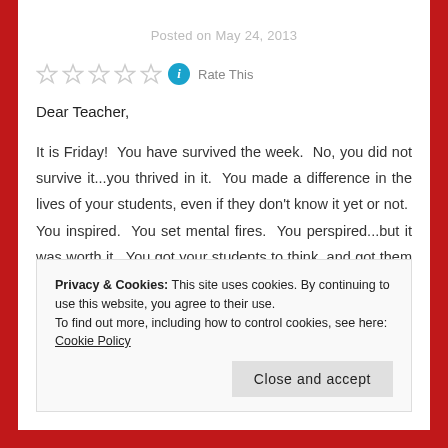Posted on May 24, 2013
Rate This
Dear Teacher,
It is Friday!  You have survived the week.  No, you did not survive it...you thrived in it.  You made a difference in the lives of your students, even if they don't know it yet or not.  You inspired.  You set mental fires.  You perspired...but it was worth it.  You got your students to think, and got them thinking
Privacy & Cookies: This site uses cookies. By continuing to use this website, you agree to their use.
To find out more, including how to control cookies, see here: Cookie Policy
Close and accept